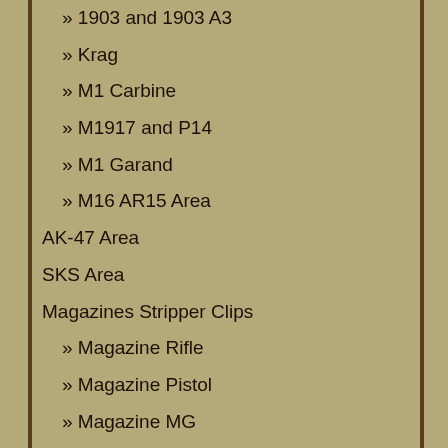» 1903 and 1903 A3
» Krag
» M1 Carbine
» M1917 and P14
» M1 Garand
» M16 AR15 Area
AK-47 Area
SKS Area
Magazines Stripper Clips
» Magazine Rifle
» Magazine Pistol
» Magazine MG
» Stripper Clips Loaders
Military Gun Parts Misc
Military Surplus Area
» Gear
» Helmets
» Odd Lots
» Pouches and Bags
» Military Oilers